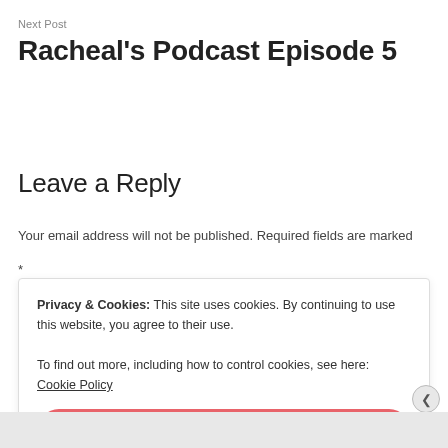Next Post
Racheal's Podcast Episode 5
Leave a Reply
Your email address will not be published. Required fields are marked *
Privacy & Cookies: This site uses cookies. By continuing to use this website, you agree to their use.
To find out more, including how to control cookies, see here: Cookie Policy
Close and accept